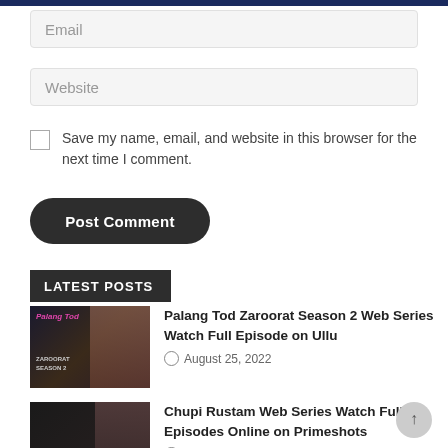Email
Website
Save my name, email, and website in this browser for the next time I comment.
Post Comment
LATEST POSTS
Palang Tod Zaroorat Season 2 Web Series Watch Full Episode on Ullu
August 25, 2022
[Figure (photo): Thumbnail for Palang Tod Zaroorat Season 2]
Chupi Rustam Web Series Watch Full Episodes Online on Primeshots
August 25, 2022
[Figure (photo): Thumbnail for Chupi Rustam Web Series]